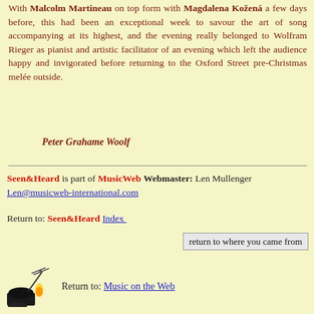With Malcolm Martineau on top form with Magdalena Kožená a few days before, this had been an exceptional week to savour the art of song accompanying at its highest, and the evening really belonged to Wolfram Rieger as pianist and artistic facilitator of an evening which left the audience happy and invigorated before returning to the Oxford Street pre-Christmas melée outside.
Peter Grahame Woolf
Seen&Heard is part of MusicWeb Webmaster: Len Mullenger Len@musicweb-international.com
Return to: Seen&Heard Index
return to where you came from
Return to: Music on the Web
[Figure (illustration): Small illustration of a conductor with a baton]